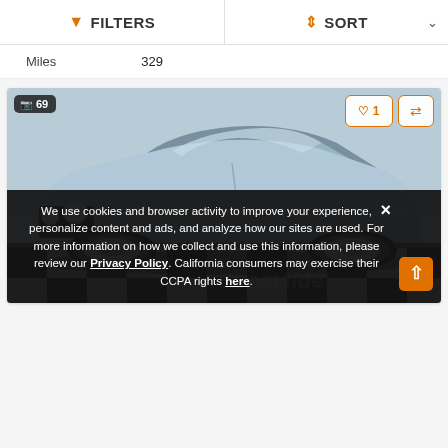FILTERS  SORT
Miles  329
[Figure (screenshot): A light blue classic 1966 Chevrolet Chevelle muscle car parked in a showroom with black and white checkered floor. The car is shown from a front 3/4 angle. Overlay badges show 69 photos, 1 like, and a compare button.]
We use cookies and browser activity to improve your experience, personalize content and ads, and analyze how our sites are used. For more information on how we collect and use this information, please review our Privacy Policy. California consumers may exercise their CCPA rights here.